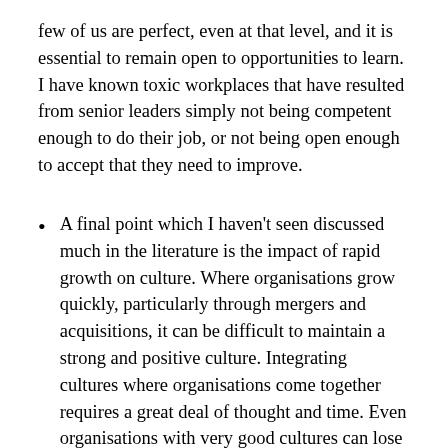few of us are perfect, even at that level, and it is essential to remain open to opportunities to learn. I have known toxic workplaces that have resulted from senior leaders simply not being competent enough to do their job, or not being open enough to accept that they need to improve.
A final point which I haven't seen discussed much in the literature is the impact of rapid growth on culture. Where organisations grow quickly, particularly through mergers and acquisitions, it can be difficult to maintain a strong and positive culture. Integrating cultures where organisations come together requires a great deal of thought and time. Even organisations with very good cultures can lose their way if they grow too quickly